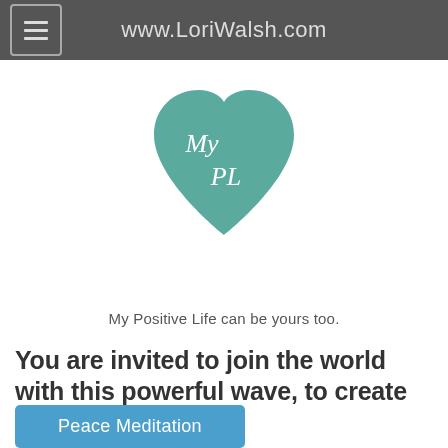www.LoriWalsh.com
[Figure (logo): Teal heart-shaped logo with cursive text 'My PL' (My Positive Life) inside]
My Positive Life can be yours too.
You are invited to join the world with this powerful wave, to create ripples of peace.
Peace Meditation